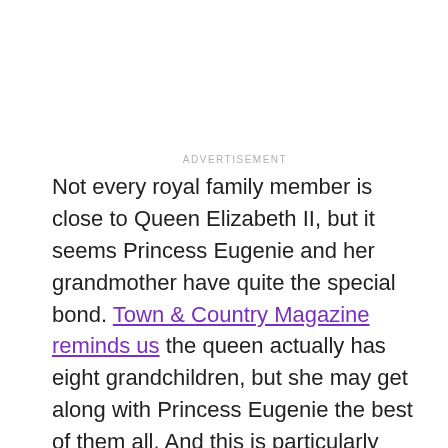ADVERTISEMENT
Not every royal family member is close to Queen Elizabeth II, but it seems Princess Eugenie and her grandmother have quite the special bond. Town & Country Magazine reminds us the queen actually has eight grandchildren, but she may get along with Princess Eugenie the best of them all. And this is particularly evident in the way that Eugenie talks about the queen. While other royals may talk about Queen Elizabeth II more formally,